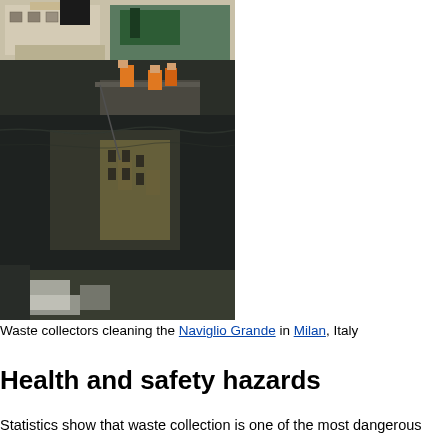[Figure (photo): Waste collectors in orange uniforms cleaning the Naviglio Grande canal in Milan, Italy. Workers are visible on a platform or boat in a dark waterway, with buildings and their reflections visible in the water.]
Waste collectors cleaning the Naviglio Grande in Milan, Italy
Health and safety hazards
Statistics show that waste collection is one of the most dangerous